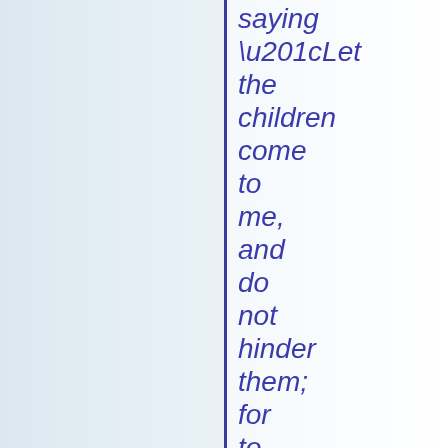saying “Let the children come to me, and do not hinder them; for to such belongs the